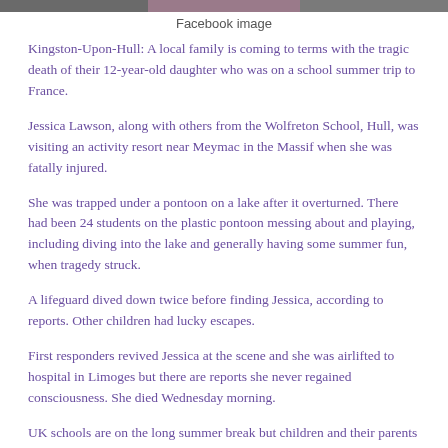[Figure (photo): Partial image strip showing cropped photos at top of page]
Facebook image
Kingston-Upon-Hull: A local family is coming to terms with the tragic death of their 12-year-old daughter who was on a school summer trip to France.
Jessica Lawson, along with others from the Wolfreton School, Hull, was visiting an activity resort near Meymac in the Massif when she was fatally injured.
She was trapped under a pontoon on a lake after it overturned. There had been 24 students on the plastic pontoon messing about and playing, including diving into the lake and generally having some summer fun, when tragedy struck.
A lifeguard dived down twice before finding Jessica, according to reports. Other children had lucky escapes.
First responders revived Jessica at the scene and she was airlifted to hospital in Limoges but there are reports she never regained consciousness. She died Wednesday morning.
UK schools are on the long summer break but children and their parents have laid floral tributes at the gates of Wolfreton school. Obviously all are very